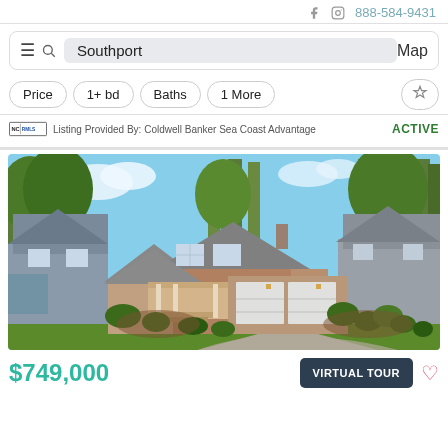f  [instagram]  888-584-9431
Southport  Map
Price  1+ bd  Baths  1 More
Listing Provided By: Coldwell Banker Sea Coast Advantage  ACTIVE
[Figure (photo): Exterior photo of a brick and stone single-family home with two-car garage, covered porch, manicured lawn with shrubs, trees in background, blue sky.]
$749,000  VIRTUAL TOUR